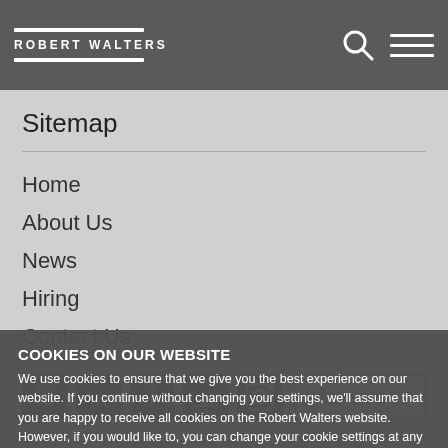ROBERT WALTERS
Sitemap
Home
About Us
News
Hiring
Contact Us
[Figure (logo): Social media icons: Twitter, LinkedIn, Facebook, YouTube, Instagram, and Glassdoor logo]
COOKIES ON OUR WEBSITE
We use cookies to ensure that we give you the best experience on our website. If you continue without changing your settings, we'll assume that you are happy to receive all cookies on the Robert Walters website. However, if you would like to, you can change your cookie settings at any time. To find out more, please view our cookies policy.
Ok, I agree   No, give me more information